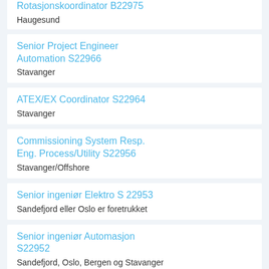Rotasjonskoordinator B22975
Haugesund
Senior Project Engineer Automation S22966
Stavanger
ATEX/EX Coordinator S22964
Stavanger
Commissioning System Resp. Eng. Process/Utility S22956
Stavanger/Offshore
Senior ingeniør Elektro S 22953
Sandefjord eller Oslo er foretrukket
Senior ingeniør Automasjon S22952
Sandefjord, Oslo, Bergen og Stavanger